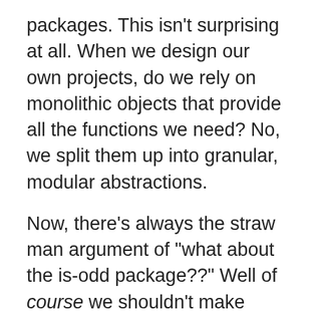packages. This isn't surprising at all. When we design our own projects, do we rely on monolithic objects that provide all the functions we need? No, we split them up into granular, modular abstractions.
Now, there's always the straw man argument of "what about the is-odd package??" Well of course we shouldn't make packages for checking the parity of a number. That shouldn't have to be said. But there's a lot of useful cases in between is-odd and jQuery in which packages solve a real problem.
The next point that people often make is, why not write the code yourself? And sure, in the trivial cases that's true. You can write